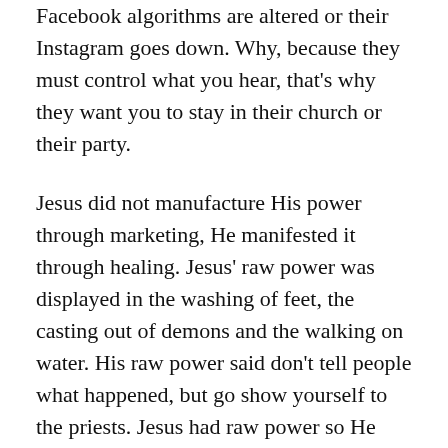Facebook algorithms are altered or their Instagram goes down. Why, because they must control what you hear, that's why they want you to stay in their church or their party.
Jesus did not manufacture His power through marketing, He manifested it through healing. Jesus' raw power was displayed in the washing of feet, the casting out of demons and the walking on water. His raw power said don't tell people what happened, but go show yourself to the priests. Jesus had raw power so He wasn't looking to be famous, but faithful to His Father.
Church, we are witnessing raw power right now and it is exposing manufactured power. This is not the time to rejoice in someone else's exposure whether political or religious, but to observe so we don't make the same mistake. Keep your eyes on Jesus, for idols are falling.